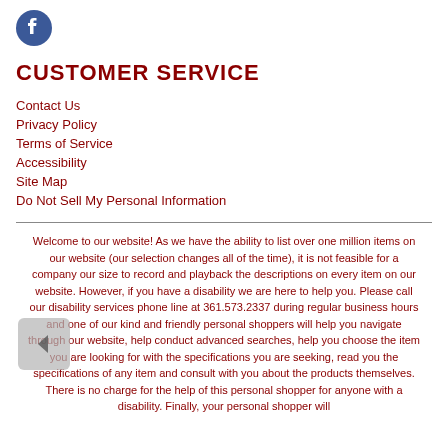[Figure (logo): Facebook logo icon — blue circle with white letter f]
CUSTOMER SERVICE
Contact Us
Privacy Policy
Terms of Service
Accessibility
Site Map
Do Not Sell My Personal Information
Welcome to our website! As we have the ability to list over one million items on our website (our selection changes all of the time), it is not feasible for a company our size to record and playback the descriptions on every item on our website. However, if you have a disability we are here to help you. Please call our disability services phone line at 361.573.2337 during regular business hours and one of our kind and friendly personal shoppers will help you navigate through our website, help conduct advanced searches, help you choose the item you are looking for with the specifications you are seeking, read you the specifications of any item and consult with you about the products themselves. There is no charge for the help of this personal shopper for anyone with a disability. Finally, your personal shopper will advise Privacy Policy and Terms of Service and help you place an order